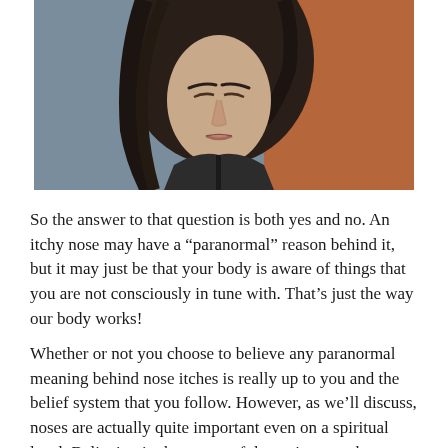[Figure (photo): Close-up portrait photo of a young woman with long dark hair, wearing a dark jacket, looking upward. Background shows blurred urban/orange wall tones.]
So the answer to that question is both yes and no. An itchy nose may have a “paranormal” reason behind it, but it may just be that your body is aware of things that you are not consciously in tune with. That’s just the way our body works!
Whether or not you choose to believe any paranormal meaning behind nose itches is really up to you and the belief system that you follow. However, as we’ll discuss, noses are actually quite important even on a spiritual level. Believing in the power of these signs can be a very Christian thing to do!